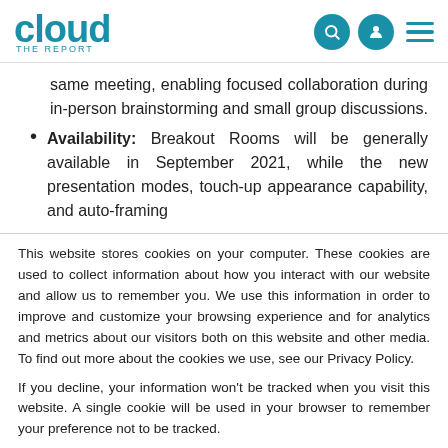cloud THE REPORT
same meeting, enabling focused collaboration during in-person brainstorming and small group discussions.
Availability: Breakout Rooms will be generally available in September 2021, while the new presentation modes, touch-up appearance capability, and auto-framing
This website stores cookies on your computer. These cookies are used to collect information about how you interact with our website and allow us to remember you. We use this information in order to improve and customize your browsing experience and for analytics and metrics about our visitors both on this website and other media. To find out more about the cookies we use, see our Privacy Policy.
If you decline, your information won't be tracked when you visit this website. A single cookie will be used in your browser to remember your preference not to be tracked.